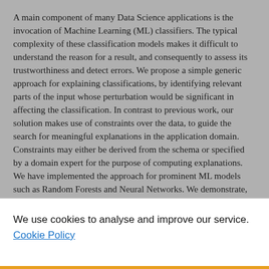A main component of many Data Science applications is the invocation of Machine Learning (ML) classifiers. The typical complexity of these classification models makes it difficult to understand the reason for a result, and consequently to assess its trustworthiness and detect errors. We propose a simple generic approach for explaining classifications, by identifying relevant parts of the input whose perturbation would be significant in affecting the classification. In contrast to previous work, our solution makes use of constraints over the data, to guide the search for meaningful explanations in the application domain. Constraints may either be derived from the schema or specified by a domain expert for the purpose of computing explanations. We have implemented the approach for prominent ML models such as Random Forests and Neural Networks. We demonstrate, through examples and experiments, the effectiveness of our solution, and in particular of its novel use of
We use cookies to analyse and improve our service. Cookie Policy